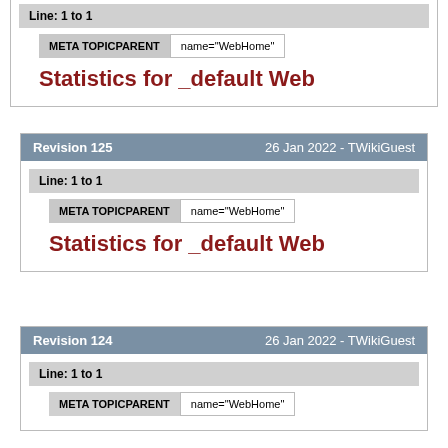Line: 1 to 1
META TOPICPARENT   name="WebHome"
Statistics for _default Web
Revision 125   26 Jan 2022 - TWikiGuest
Line: 1 to 1
META TOPICPARENT   name="WebHome"
Statistics for _default Web
Revision 124   26 Jan 2022 - TWikiGuest
Line: 1 to 1
META TOPICPARENT   name="WebHome"